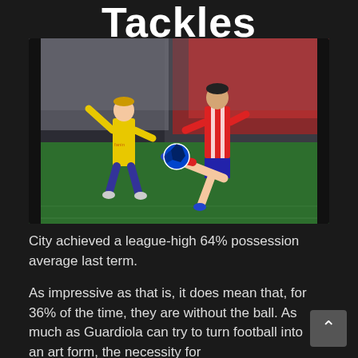Tackles
[Figure (photo): Two football players competing for the ball during a Champions League match. One player in yellow Borussia Dortmund kit and another in red and white striped Atletico Madrid kit are challenging for a high ball on a green pitch with stadium seats in the background.]
City achieved a league-high 64% possession average last term.
As impressive as that is, it does mean that, for 36% of the time, they are without the ball. As much as Guardiola can try to turn football into an art form, the necessity for